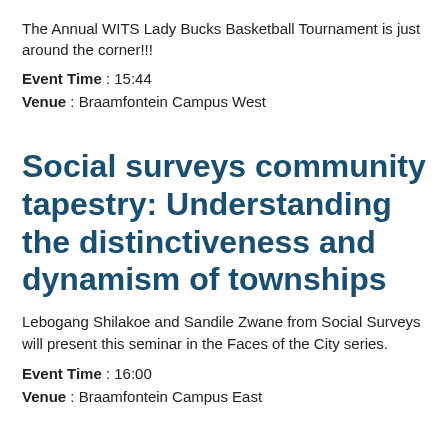The Annual WITS Lady Bucks Basketball Tournament is just around the corner!!!
Event Time : 15:44
Venue : Braamfontein Campus West
Social surveys community tapestry: Understanding the distinctiveness and dynamism of townships
Lebogang Shilakoe and Sandile Zwane from Social Surveys will present this seminar in the Faces of the City series.
Event Time : 16:00
Venue : Braamfontein Campus East